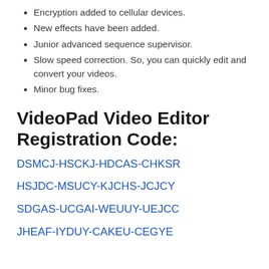Encryption added to cellular devices.
New effects have been added.
Junior advanced sequence supervisor.
Slow speed correction. So, you can quickly edit and convert your videos.
Minor bug fixes.
VideoPad Video Editor Registration Code:
DSMCJ-HSCKJ-HDCAS-CHKSR
HSJDC-MSUCY-KJCHS-JCJCY
SDGAS-UCGAI-WEUUY-UEJCC
JHEAF-IYDUY-CAKEU-CEGYE